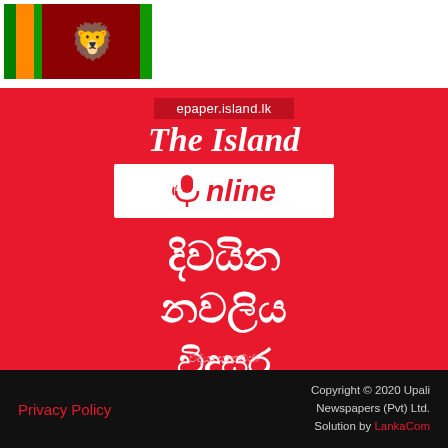[Figure (logo): Sri Lanka flag image in top-left corner]
[Figure (logo): The Island Online logo with epaper.island.lk label, italic serif title 'The Island' and stylized 'Online' text on white background, all on red background]
දිවයින නවලිය විදුසර
විද්යා සාකච්ජා
Privacy Policy   Copyright © 2020 Upali Newspapers (Pvt) Ltd. Solution by LankaCom